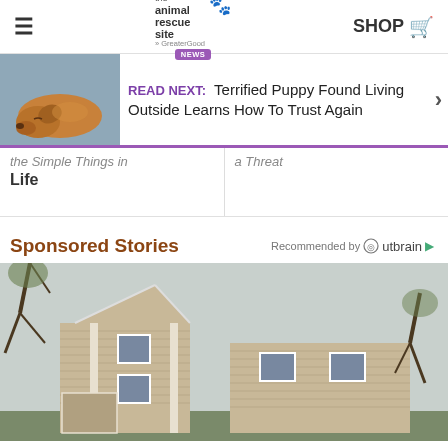The Animal Rescue Site News | SHOP
[Figure (screenshot): READ NEXT banner with sleeping golden retriever puppy photo and text: Terrified Puppy Found Living Outside Learns How To Trust Again]
the Simple Things in Life
a Threat
Sponsored Stories
Recommended by Outbrain
[Figure (photo): Exterior photo of a two-story beige/tan colonial-style house with white trim, surrounded by bare trees]